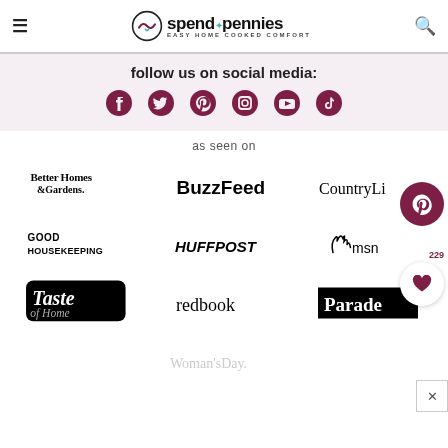spend with pennies — EASY HOME COOKED COMFORT
follow us on social media:
[Figure (infographic): Six social media icons: Facebook, Twitter, Pinterest, Instagram, YouTube, TikTok in dark red/maroon color]
as seen on
[Figure (logo): Better Homes & Gardens logo]
[Figure (logo): BuzzFeed logo]
[Figure (logo): Country Living logo (partially visible)]
[Figure (logo): Good Housekeeping logo]
[Figure (logo): HuffPost logo]
[Figure (logo): MSN logo]
[Figure (logo): Taste of Home logo]
[Figure (logo): redbook logo]
[Figure (logo): Parade logo]
[Figure (logo): Woman's Day logo (faded/greyed out)]